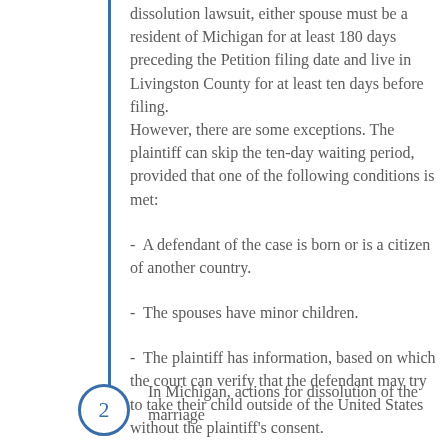dissolution lawsuit, either spouse must be a resident of Michigan for at least 180 days preceding the Petition filing date and live in Livingston County for at least ten days before filing. However, there are some exceptions. The plaintiff can skip the ten-day waiting period, provided that one of the following conditions is met:
-  A defendant of the case is born or is a citizen of another country.
-  The spouses have minor children.
-  The plaintiff has information, based on which the court can verify that the defendant may try to take their child outside of the United States without the plaintiff's consent.
2
In Michigan, actions for dissolution of the marriage